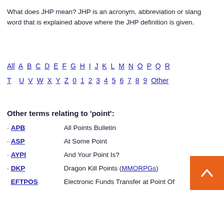What does JHP mean? JHP is an acronym, abbreviation or slang word that is explained above where the JHP definition is given.
All A B C D E F G H I J K L M N O P Q R T U V W X Y Z 0 1 2 3 4 5 6 7 8 9 Other
Other terms relating to 'point':
· APB — All Points Bulletin
· ASP — At Some Point
· AYPI — And Your Point Is?
· DKP — Dragon Kill Points (MMORPGs)
· EFTPOS — Electronic Funds Transfer at Point Of